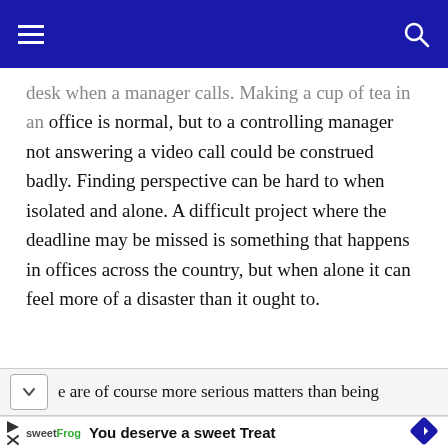[navigation bar with hamburger menu and search icon]
desk when a manager calls. Making a cup of tea in an office is normal, but to a controlling manager not answering a video call could be construed badly. Finding perspective can be hard to when isolated and alone. A difficult project where the deadline may be missed is something that happens in offices across the country, but when alone it can feel more of a disaster than it ought to.
e are of course more serious matters than being
[Figure (other): Advertisement banner for sweetFrog frozen yogurt: 'You deserve a sweet Treat' with sweetFrog branding, logo, and navigation arrow icon]